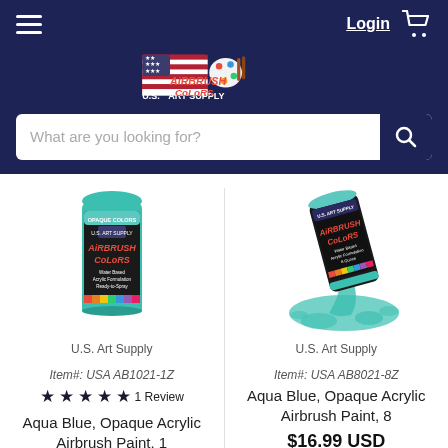U.S. Art Supply — Login | Cart
[Figure (logo): U.S. Art Supply logo with American flag and paint palette]
What are you looking for? [search bar]
[Figure (photo): Airbrush Colors 1oz aqua blue opaque paint bottle]
U.S. Art Supply
Item#: USA AB1021-1Z
★★★★★ 1 Review
Aqua Blue, Opaque Acrylic Airbrush Paint, 1
$8.49 USD
[Figure (photo): Airbrush Colors 8oz aqua blue opaque paint bottle spilling paint]
U.S. Art Supply
Item#: USA AB8021-8Z
Aqua Blue, Opaque Acrylic Airbrush Paint, 8
$16.99 USD